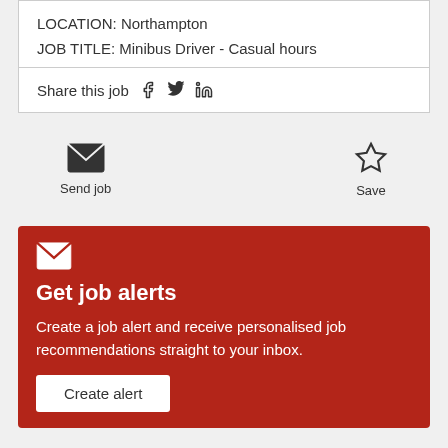LOCATION: Northampton
JOB TITLE: Minibus Driver - Casual hours
Share this job
[Figure (infographic): Send job (envelope icon) and Save (star icon) action buttons on grey background]
Get job alerts
Create a job alert and receive personalised job recommendations straight to your inbox.
Create alert